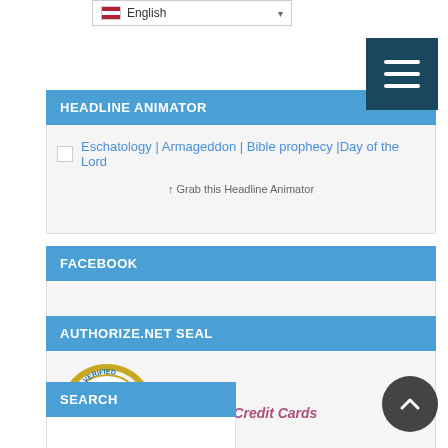[Figure (screenshot): Language selector dropdown showing US flag and 'English']
[Figure (other): Dark teal hamburger/menu button with three white horizontal lines]
HEADLINE ANIMATOR
Eschatology | Armageddon | Bible prophecy |Day of the Lord
↑ Grab this Headline Animator
FACEBOOK
AUTHORIZE.NET SEAL
[Figure (logo): Authorize.Net Verified Merchant seal with gold badge and Click button]
Process Credit Cards
SEARCH